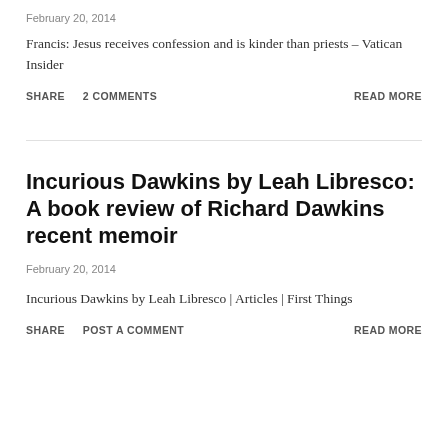February 20, 2014
Francis: Jesus receives confession and is kinder than priests – Vatican Insider
SHARE   2 COMMENTS   READ MORE
Incurious Dawkins by Leah Libresco: A book review of Richard Dawkins recent memoir
February 20, 2014
Incurious Dawkins by Leah Libresco | Articles | First Things
SHARE   POST A COMMENT   READ MORE